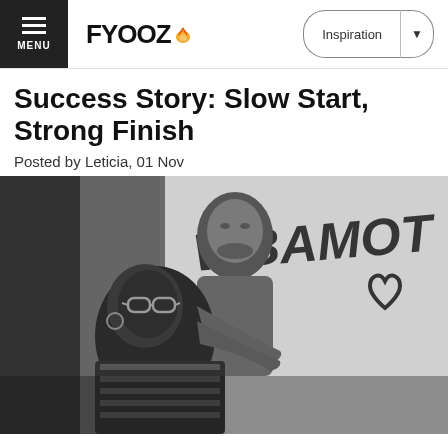FYOOZ — Inspiration
Success Story: Slow Start, Strong Finish
Posted by Leticia, 01 Nov
[Figure (photo): Black and white photo of an interracial couple embracing in front of a wall covered in graffiti including a heart symbol. The woman wears glasses and a striped jacket; the man stands behind her with his arms around her.]